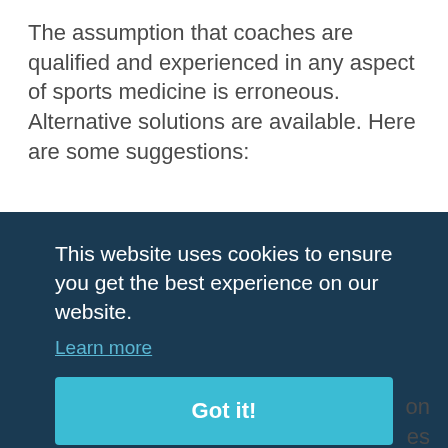The assumption that coaches are qualified and experienced in any aspect of sports medicine is erroneous. Alternative solutions are available. Here are some suggestions:
• □State health departments, state high school athletic associations, the National Athletic Trainers' Association and possibly other agencies should collaboratively and assertively research all aspects [of effective] [solutions on] [all agencies]
[Figure (screenshot): Cookie consent banner overlay with dark navy background. Contains text 'This website uses cookies to ensure you get the best experience on our website.' with a 'Learn more' link and a teal 'Got it!' button.]